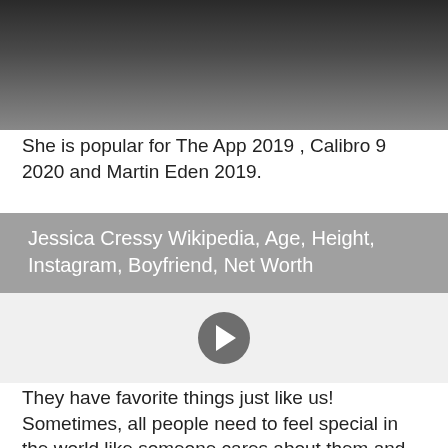[Figure (photo): Dark blurred photo, top portion of page]
She is popular for The App 2019 , Calibro 9 2020 and Martin Eden 2019.
Jessica Cressy Wikipedia, Age, Height, Instagram, Boyfriend, Net Worth
[Figure (screenshot): Video player area with play button on light gray background]
They have favorite things just like us! Sometimes, all people need to feel special in the world like someone cares about them and wants them around.